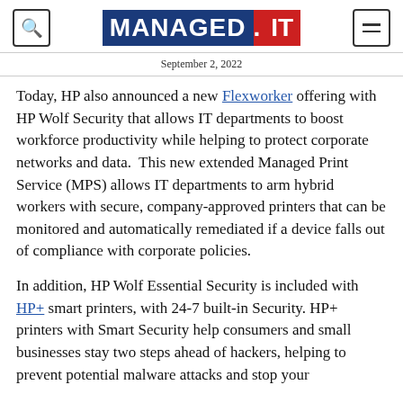MANAGED.IT — September 2, 2022
Today, HP also announced a new Flexworker offering with HP Wolf Security that allows IT departments to boost workforce productivity while helping to protect corporate networks and data.  This new extended Managed Print Service (MPS) allows IT departments to arm hybrid workers with secure, company-approved printers that can be monitored and automatically remediated if a device falls out of compliance with corporate policies.
In addition, HP Wolf Essential Security is included with HP+ smart printers, with 24-7 built-in Security. HP+ printers with Smart Security help consumers and small businesses stay two steps ahead of hackers, helping to prevent potential malware attacks and stop your